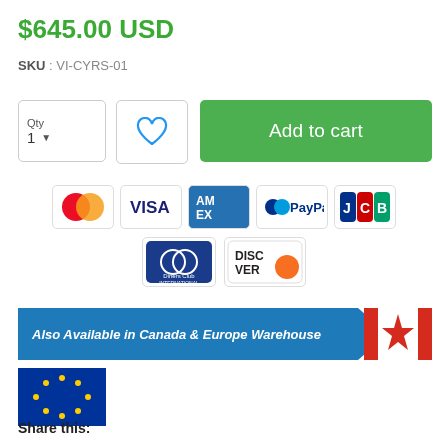$645.00 USD
SKU : VI-CYRS-01
[Figure (screenshot): Quantity selector box showing 'Qty 1' with dropdown arrow, wishlist heart icon button, and green 'Add to cart' button]
[Figure (infographic): Payment method icons: Mastercard, VISA, American Express, PayPal, JCB, Diners Club International, Discover]
[Figure (infographic): Blue banner reading 'Also Available in Canada & Europe Warehouse' with arrow shape, Canadian flag, and EU flag]
Share this: